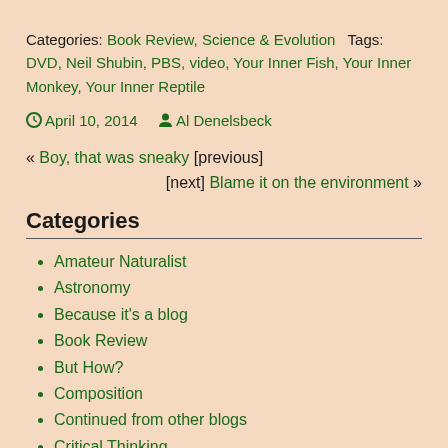Categories: Book Review, Science & Evolution    Tags: DVD, Neil Shubin, PBS, video, Your Inner Fish, Your Inner Monkey, Your Inner Reptile
April 10, 2014   Al Denelsbeck
« Boy, that was sneaky [previous]
[next] Blame it on the environment »
Categories
Amateur Naturalist
Astronomy
Because it's a blog
Book Review
But How?
Composition
Continued from other blogs
Critical Thinking